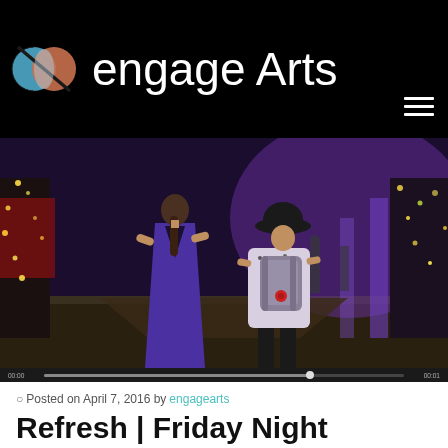engage Arts
[Figure (photo): Two people walking away from camera down an outdoor street at night lit with colorful lights. One person wears a purple backless dress, the other wears a white printed t-shirt with a grey backpack and black hat.]
Posted on April 7, 2016 by engagearts
Refresh | Friday Night